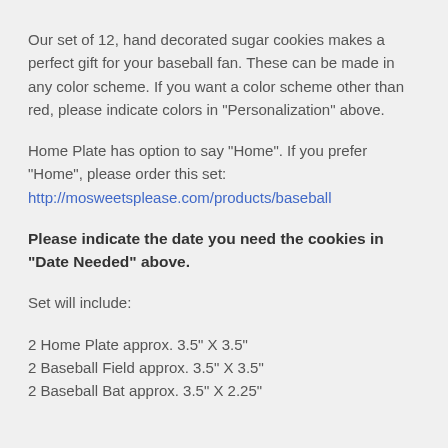Our set of 12, hand decorated sugar cookies makes a perfect gift for your baseball fan. These can be made in any color scheme.  If you want a color scheme other than red, please indicate colors in "Personalization" above.
Home Plate has option to say "Home".  If you prefer "Home", please order this set: http://mosweetsplease.com/products/baseball
Please indicate the date you need the cookies in "Date Needed"  above.
Set will include:
2 Home Plate approx. 3.5" X 3.5"
2 Baseball Field approx. 3.5" X 3.5"
2 Baseball Bat approx. 3.5" X 2.25"